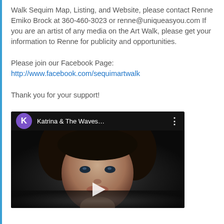Walk Sequim Map, Listing, and Website, please contact Renne Emiko Brock at 360-460-3023 or renne@uniqueasyou.com If you are an artist of any media on the Art Walk, please get your information to Renne for publicity and opportunities.
Please join our Facebook Page:
http://www.facebook.com/sequimartwalk
Thank you for your support!
[Figure (screenshot): YouTube video thumbnail showing a video titled 'Katrina & The Waves...' with a purple K avatar icon, a three-dot menu button, a dark background showing a woman's face, and a play button at the bottom center.]